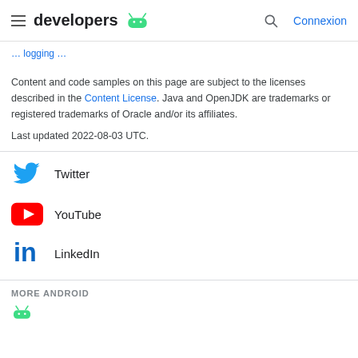developers [Android logo] | Connexion
Content and code samples on this page are subject to the licenses described in the Content License. Java and OpenJDK are trademarks or registered trademarks of Oracle and/or its affiliates.
Last updated 2022-08-03 UTC.
Twitter
YouTube
LinkedIn
MORE ANDROID